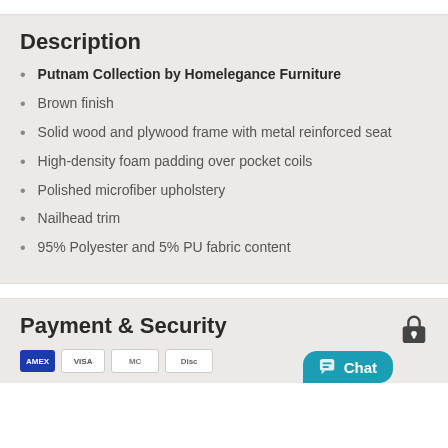Description
Putnam Collection by Homelegance Furniture
Brown finish
Solid wood and plywood frame with metal reinforced seat
High-density foam padding over pocket coils
Polished microfiber upholstery
Nailhead trim
95% Polyester and 5% PU fabric content
Payment & Security